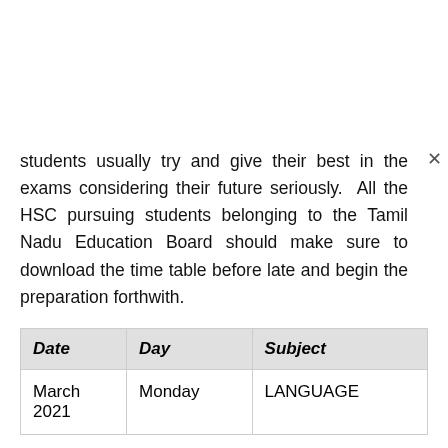students usually try and give their best in the exams considering their future seriously. All the HSC pursuing students belonging to the Tamil Nadu Education Board should make sure to download the time table before late and begin the preparation forthwith.
| Date | Day | Subject |
| --- | --- | --- |
| March 2021 | Monday | LANGUAGE |